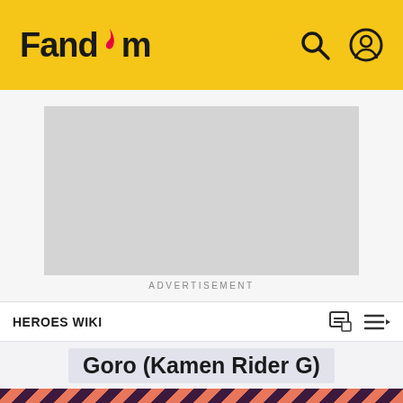Fandom
[Figure (screenshot): Advertisement placeholder - grey rectangle]
ADVERTISEMENT
HEROES WIKI
Goro (Kamen Rider G)
[Figure (illustration): Diagonal stripe banner in coral/pink and dark purple colors]
-Welcome to the Hero/Protagonist wiki! If you can help us with this wiki please sign up and help us! Thanks! -M-NUva